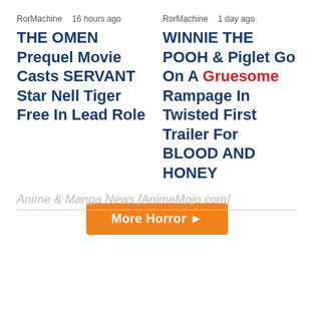RorMachine   16 hours ago
THE OMEN Prequel Movie Casts SERVANT Star Nell Tiger Free In Lead Role
RorMachine   1 day ago
WINNIE THE POOH & Piglet Go On A Gruesome Rampage In Twisted First Trailer For BLOOD AND HONEY
More Horror ▶
Anime & Manga News [AnimeMojo.com]